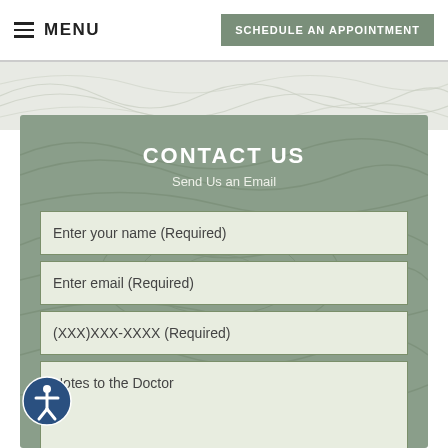≡ MENU | SCHEDULE AN APPOINTMENT
CONTACT US
Send Us an Email
Enter your name (Required)
Enter email (Required)
(XXX)XXX-XXXX (Required)
Notes to the Doctor